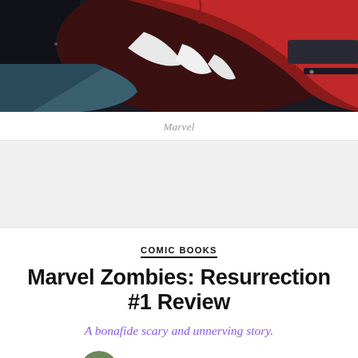[Figure (photo): Close-up comic book art of a zombie/monster face with red and blue coloring, sharp teeth, and dark background — Marvel Zombies: Resurrection cover art]
Marvel
[Figure (other): Gray advertisement or placeholder block]
COMIC BOOKS
Marvel Zombies: Resurrection #1 Review
A bonafide scary and unnerving story.
David Brooks  October 20, 2019